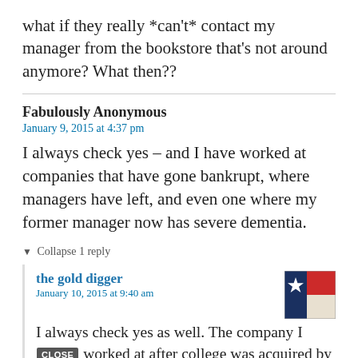what if they really *can't* contact my manager from the bookstore that's not around anymore? What then??
Fabulously Anonymous
January 9, 2015 at 4:37 pm
I always check yes – and I have worked at companies that have gone bankrupt, where managers have left, and even one where my former manager now has severe dementia.
▼ Collapse 1 reply
the gold digger
January 10, 2015 at 9:40 am
[Figure (photo): Texas state flag avatar image showing blue field with white star and red/white stripes]
I always check yes as well. The company I [CLOSE] worked at after college was acquired by a competitor and my boss there is long gone. The boss from my second